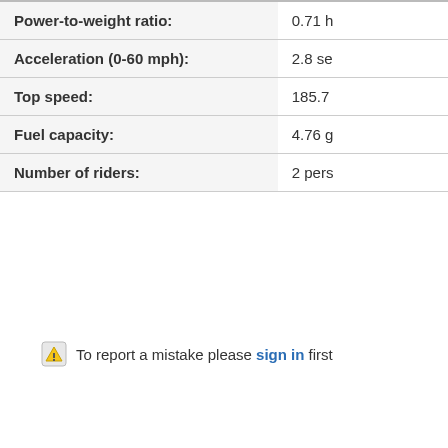| Property | Value |
| --- | --- |
| Power-to-weight ratio: | 0.71 h |
| Acceleration (0-60 mph): | 2.8 se |
| Top speed: | 185.7 |
| Fuel capacity: | 4.76 g |
| Number of riders: | 2 pers |
To report a mistake please sign in first